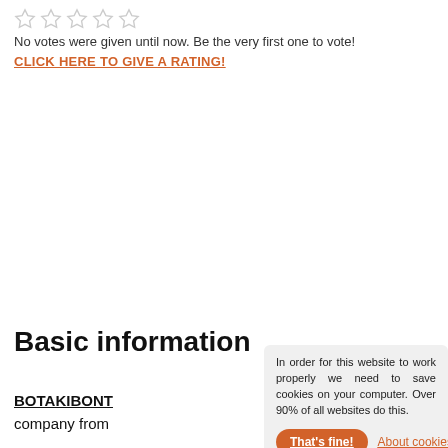[Figure (other): Five empty star rating icons arranged horizontally]
No votes were given until now. Be the very first one to vote!
CLICK HERE TO GIVE A RATING!
Basic information
In order for this website to work properly we need to save cookies on your computer. Over 90% of all websites do this.
That's fine!
About cookies
BOTAKIBONT
company from